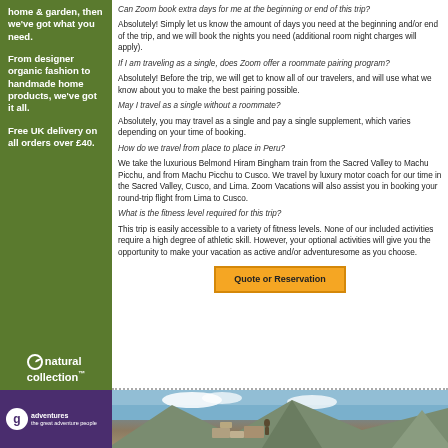home & garden, then we've got what you need. From designer organic fashion to handmade home products, we've got it all. Free UK delivery on all orders over £40.
Can Zoom book extra days for me at the beginning or end of this trip? Absolutely! Simply let us know the amount of days you need at the beginning and/or end of the trip, and we will book the nights you need (additional room night charges will apply).
If I am traveling as a single, does Zoom offer a roommate pairing program? Absolutely! Before the trip, we will get to know all of our travelers, and will use what we know about you to make the best pairing possible.
May I travel as a single without a roommate? Absolutely, you may travel as a single and pay a single supplement, which varies depending on your time of booking.
How do we travel from place to place in Peru? We take the luxurious Belmond Hiram Bingham train from the Sacred Valley to Machu Picchu, and from Machu Picchu to Cusco. We travel by luxury motor coach for our time in the Sacred Valley, Cusco, and Lima. Zoom Vacations will also assist you in booking your round-trip flight from Lima to Cusco.
What is the fitness level required for this trip? This trip is easily accessible to a variety of fitness levels. None of our included activities require a high degree of athletic skill. However, your optional activities will give you the opportunity to make your vacation as active and/or adventuresome as you choose.
Quote or Reservation
[Figure (photo): Rocky mountain landscape with stone ruins and a person standing on large stone blocks, with mountains and sky in background]
[Figure (logo): Natural Collection logo with circular leaf icon]
[Figure (logo): G Adventures logo - the great adventure people]